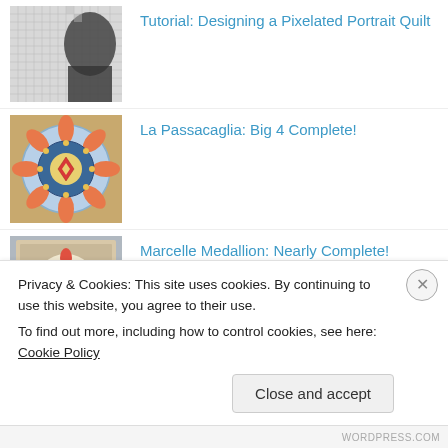Tutorial: Designing a Pixelated Portrait Quilt
La Passacaglia: Big 4 Complete!
Marcelle Medallion: Nearly Complete!
Privacy & Cookies: This site uses cookies. By continuing to use this website, you agree to their use.
To find out more, including how to control cookies, see here: Cookie Policy
WORDPRESS.COM